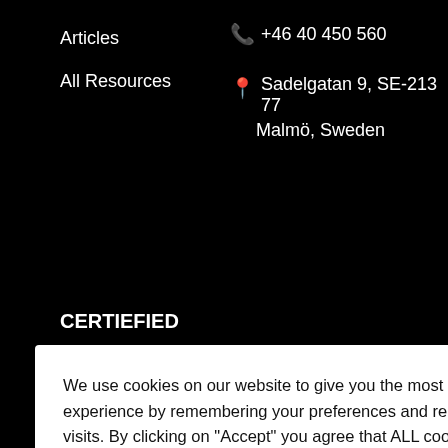Articles
All Resources
+46 40 450 560
Sadelgatan 9, SE-213 77 Malmö, Sweden
CERTIEFIED
[Figure (illustration): Certification logos partially visible at bottom of dark section]
We use cookies on our website to give you the most relevant experience by remembering your preferences and repeat visits. By clicking on "Accept" you agree that ALL cookies are used
Cookies-settings
Accept